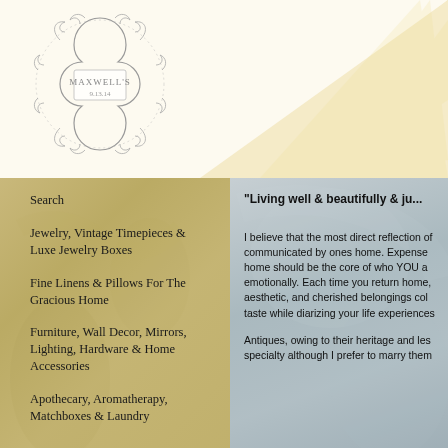[Figure (logo): Maxwell's ornate circular logo with decorative scrollwork border, text reads MAXWELL'S 9.13.14]
Search
Jewelry, Vintage Timepieces & Luxe Jewelry Boxes
Fine Linens & Pillows For The Gracious Home
Furniture, Wall Decor, Mirrors, Lighting, Hardware & Home Accessories
Apothecary, Aromatherapy, Matchboxes & Laundry
"Living well & beautifully & ju...
I believe that the most direct reflection of communicated by ones home. Expense home should be the core of who YOU a emotionally. Each time you return home, aesthetic, and cherished belongings col taste while diarizing your life experiences
Antiques, owing to their heritage and les specialty although I prefer to marry them